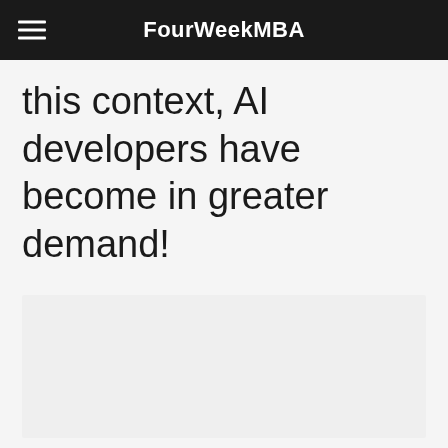FourWeekMBA
this context, AI developers have become in greater demand!